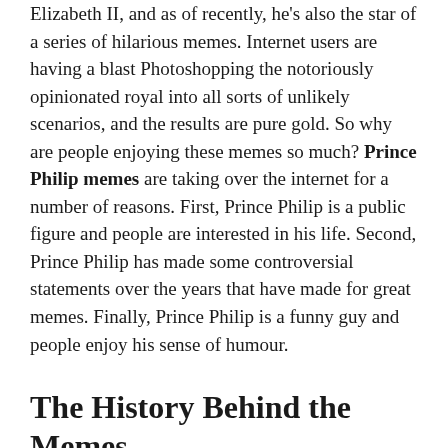Elizabeth II, and as of recently, he's also the star of a series of hilarious memes. Internet users are having a blast Photoshopping the notoriously opinionated royal into all sorts of unlikely scenarios, and the results are pure gold. So why are people enjoying these memes so much? Prince Philip memes are taking over the internet for a number of reasons. First, Prince Philip is a public figure and people are interested in his life. Second, Prince Philip has made some controversial statements over the years that have made for great memes. Finally, Prince Philip is a funny guy and people enjoy his sense of humour.
The History Behind the Memes